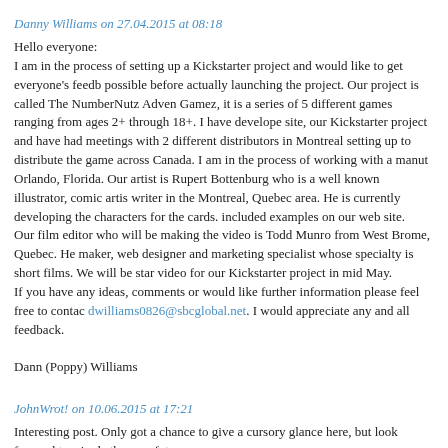Danny Williams on 27.04.2015 at 08:18
Hello everyone:
I am in the process of setting up a Kickstarter project and would like to get everyone's feedback as possible before actually launching the project. Our project is called The NumberNutz Adven Gamez, it is a series of 5 different games ranging from ages 2+ through 18+. I have develope site, our Kickstarter project and have had meetings with 2 different distributors in Montreal setting up to distribute the game across Canada. I am in the process of working with a manu Orlando, Florida. Our artist is Rupert Bottenburg who is a well known illustrator, comic artis writer in the Montreal, Quebec area. He is currently developing the characters for the cards. included examples on our web site.
Our film editor who will be making the video is Todd Munro from West Brome, Quebec. He maker, web designer and marketing specialist whose specialty is short films. We will be star video for our Kickstarter project in mid May.
If you have any ideas, comments or would like further information please feel free to contac dwilliams0826@sbcglobal.net. I would appreciate any and all feedback.

Dann (Poppy) Williams
JohnWrot! on 10.06.2015 at 17:21
Interesting post. Only got a chance to give a cursory glance here, but look forward to a in de the near future.
Thanks for running such a survey.
John
JohnWrot! on 11.06.2015 at 15:10
As Mr. Mathe did, I'll post our link to Kickstarter Advice here as well:
http://ww.nu.catalogaramoming.com/kickstarter-advise-colummo/